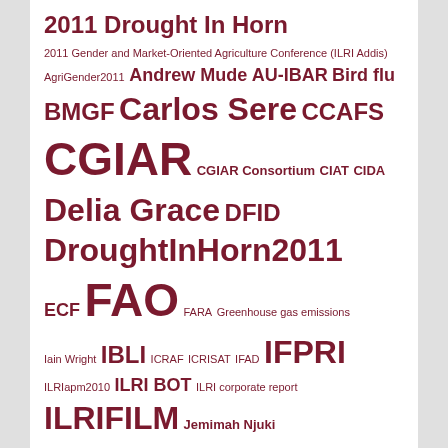[Figure (infographic): Tag cloud with terms related to ILRI/agricultural research organizations, displayed in varying font sizes proportional to frequency/importance, all in dark red/maroon color on white background.]